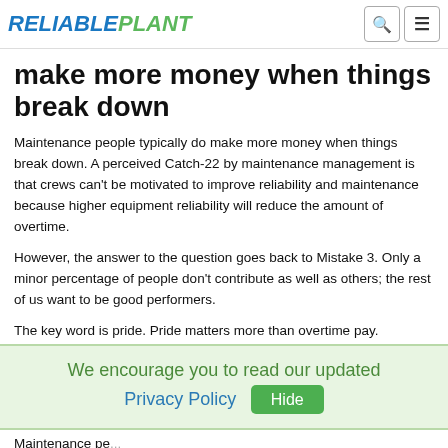RELIABLEPLANT
make more money when things break down
Maintenance people typically do make more money when things break down. A perceived Catch-22 by maintenance management is that crews can't be motivated to improve reliability and maintenance because higher equipment reliability will reduce the amount of overtime.
However, the answer to the question goes back to Mistake 3. Only a minor percentage of people don't contribute as well as others; the rest of us want to be good performers.
The key word is pride. Pride matters more than overtime pay.
We encourage you to read our updated Privacy Policy  Hide